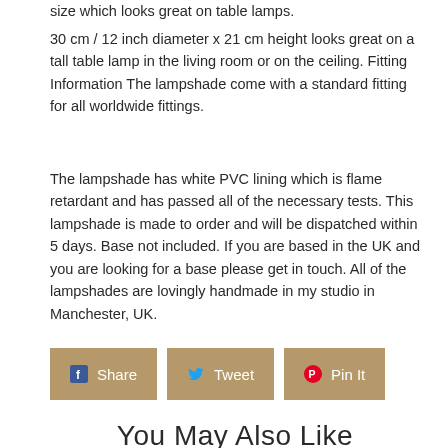size which looks great on table lamps.
30 cm / 12 inch diameter x 21 cm height looks great on a tall table lamp in the living room or on the ceiling. Fitting Information The lampshade come with a standard fitting for all worldwide fittings.
The lampshade has white PVC lining which is flame retardant and has passed all of the necessary tests. This lampshade is made to order and will be dispatched within 5 days. Base not included. If you are based in the UK and you are looking for a base please get in touch. All of the lampshades are lovingly handmade in my studio in Manchester, UK.
[Figure (other): Social sharing buttons: Share (Facebook), Tweet (Twitter), Pin It (Pinterest)]
You May Also Like